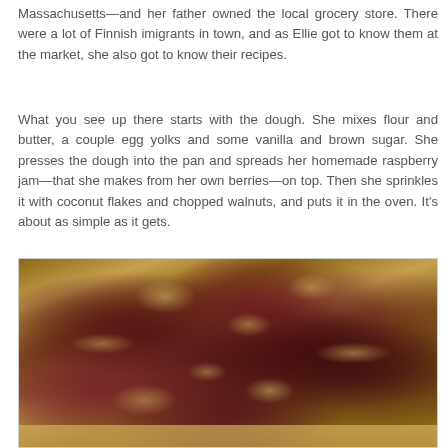Massachusetts—and her father owned the local grocery store. There were a lot of Finnish imigrants in town, and as Ellie got to know them at the market, she also got to know their recipes.
What you see up there starts with the dough. She mixes flour and butter, a couple egg yolks and some vanilla and brown sugar. She presses the dough into the pan and spreads her homemade raspberry jam—that she makes from her own berries—on top. Then she sprinkles it with coconut flakes and chopped walnuts, and puts it in the oven. It's about as simple as it gets.
[Figure (photo): Close-up photograph of a baked raspberry jam bar with coconut flakes and chopped walnuts on top, in a baking pan. The topping shows dark red jam with shredded coconut and walnut pieces scattered across the surface. A golden-brown pastry crust is visible along the edges.]